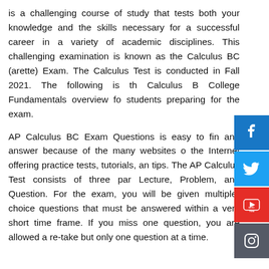is a challenging course of study that tests both your knowledge and the skills necessary for a successful career in a variety of academic disciplines. This challenging examination is known as the Calculus BC (arette) Exam. The Calculus Test is conducted in Fall 2021. The following is th Calculus B College Fundamentals overview fo students preparing for the exam.
AP Calculus BC Exam Questions is easy to fin and answer because of the many websites o the Internet offering practice tests, tutorials, an tips. The AP Calculus Test consists of three par Lecture, Problem, and Question. For the exam, you will be given multiple-choice questions that must be answered within a very short time frame. If you miss one question, you are allowed a re-take but only one question at a time.